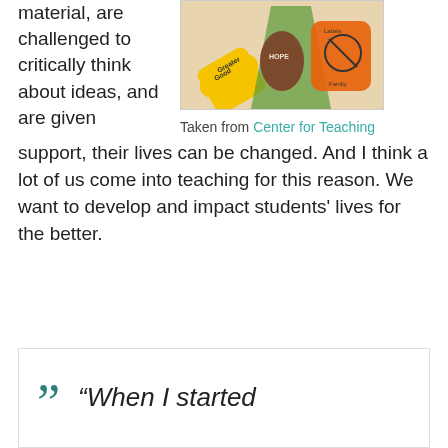material, are challenged to critically think about ideas, and are given support, their lives can be changed. And I think a lot of us come into teaching for this reason. We want to develop and impact students' lives for the better.
[Figure (photo): Colorful paper hand cutouts with labels including 'Greater Good', 'HOPE', 'Labels', 'Family' on a bulletin board]
Taken from Center for Teaching
“When I started